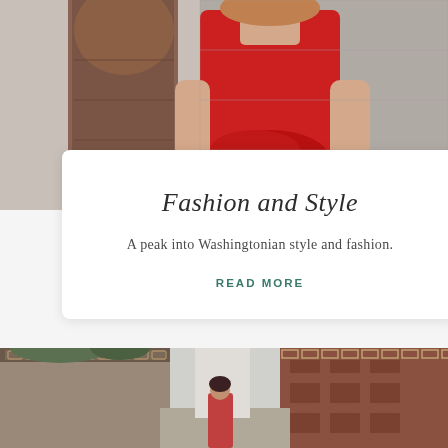[Figure (photo): Woman in red dress standing near an ornate stone column, outdoor setting with brick/stone pavement in background]
Fashion and Style
A peak into Washingtonian style and fashion.
READ MORE
[Figure (photo): Person standing in a traditional Asian alleyway flanked by historic brick buildings with decorative architectural details and foliage]